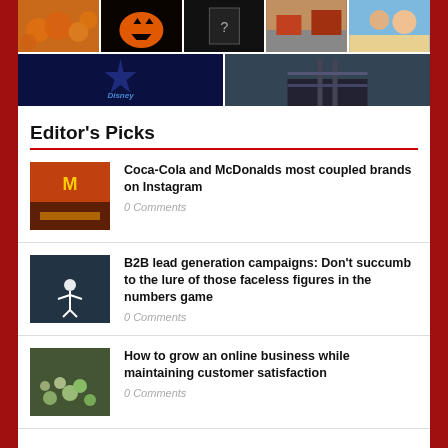[Figure (photo): Grid of photos: pumpkins, jack-o-lantern, dark mystery doorway, street scene, beach selfie, Disney logo, train station]
Editor’s Picks
[Figure (photo): McDonald's restaurant at night with bright lights]
Coca-Cola and McDonalds most coupled brands on Instagram
0 Comments
[Figure (photo): Person standing on beach at night with light]
B2B lead generation campaigns: Don’t succumb to the lure of those faceless figures in the numbers game
0 Comments
[Figure (photo): Green plants or mushrooms from above]
How to grow an online business while maintaining customer satisfaction
0 Comments